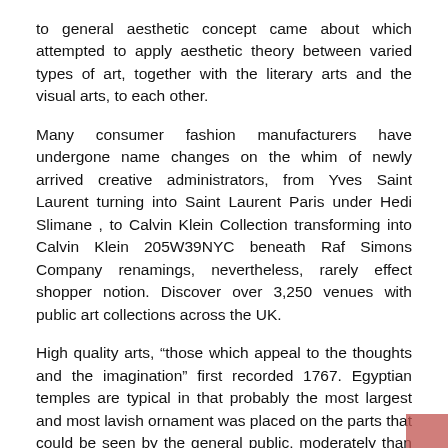to general aesthetic concept came about which attempted to apply aesthetic theory between varied types of art, together with the literary arts and the visual arts, to each other.
Many consumer fashion manufacturers have undergone name changes on the whim of newly arrived creative administrators, from Yves Saint Laurent turning into Saint Laurent Paris under Hedi Slimane , to Calvin Klein Collection transforming into Calvin Klein 205W39NYC beneath Raf Simons Company renamings, nevertheless, rarely effect shopper notion. Discover over 3,250 venues with public art collections across the UK.
High quality arts, “those which appeal to the thoughts and the imagination” first recorded 1767. Egyptian temples are typical in that probably the most largest and most lavish ornament was placed on the parts that could be seen by the general public, moderately than the areas seen solely by the priests. Sure art kinds, corresponding to graffiti, might also be illegal after they break legal guidelines (in this case vandalism).